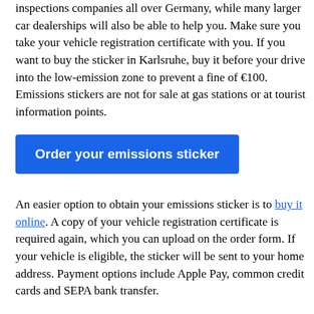inspections companies all over Germany, while many larger car dealerships will also be able to help you. Make sure you take your vehicle registration certificate with you. If you want to buy the sticker in Karlsruhe, buy it before your drive into the low-emission zone to prevent a fine of €100. Emissions stickers are not for sale at gas stations or at tourist information points.
Order your emissions sticker
An easier option to obtain your emissions sticker is to buy it online. A copy of your vehicle registration certificate is required again, which you can upload on the order form. If your vehicle is eligible, the sticker will be sent to your home address. Payment options include Apple Pay, common credit cards and SEPA bank transfer.